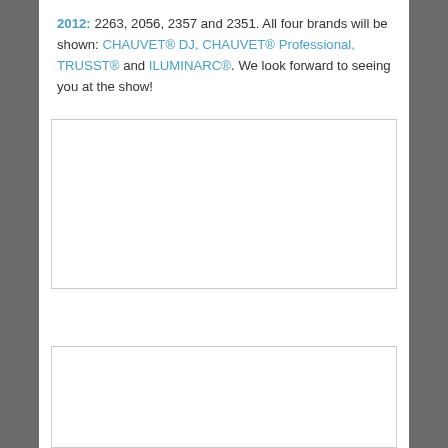2012: 2263, 2056, 2357 and 2351. All four brands will be shown: CHAUVET® DJ, CHAUVET® Professional, TRUSST® and ILUMINARC®. We look forward to seeing you at the show!
[Figure (photo): Empty white image placeholder box with a thin gray border]
[Figure (photo): Empty white image placeholder box with a thin gray border, partially visible]